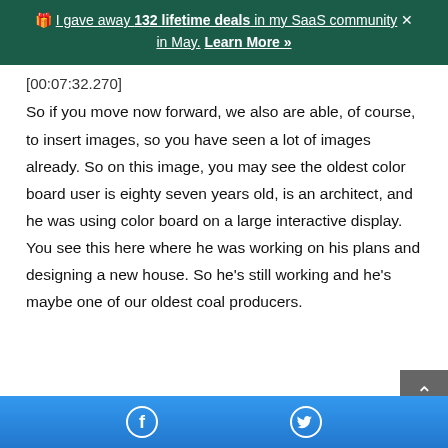🎁 I gave away 132 lifetime deals in my SaaS community × in May. Learn More »
[00:07:32.270]
So if you move now forward, we also are able, of course, to insert images, so you have seen a lot of images already. So on this image, you may see the oldest color board user is eighty seven years old, is an architect, and he was using color board on a large interactive display. You see this here where he was working on his plans and designing a new house. So he's still working and he's maybe one of our oldest coal producers.
Facebook Twitter social share buttons